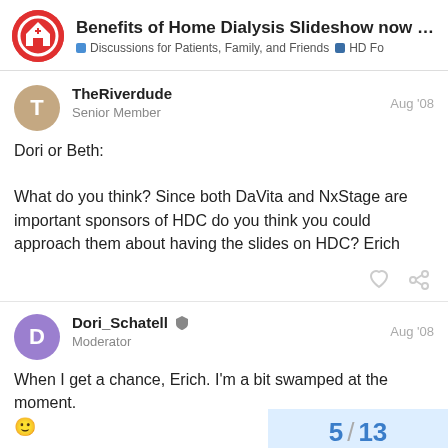Benefits of Home Dialysis Slideshow now availa... | Discussions for Patients, Family, and Friends | HD Fo
TheRiverdude
Senior Member
Aug '08

Dori or Beth:

What do you think? Since both DaVita and NxStage are important sponsors of HDC do you think you could approach them about having the slides on HDC? Erich
Dori_Schatell
Moderator
Aug '08

When I get a chance, Erich. I'm a bit swamped at the moment. 🙂
5 / 13